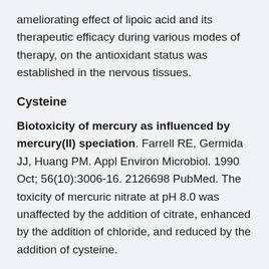ameliorating effect of lipoic acid and its therapeutic efficacy during various modes of therapy, on the antioxidant status was established in the nervous tissues.
Cysteine
Biotoxicity of mercury as influenced by mercury(II) speciation. Farrell RE, Germida JJ, Huang PM. Appl Environ Microbiol. 1990 Oct; 56(10):3006-16. 2126698 PubMed. The toxicity of mercuric nitrate at pH 8.0 was unaffected by the addition of citrate, enhanced by the addition of chloride, and reduced by the addition of cysteine.
Cysteine metabolism and metal toxicity. Quig D. Altern Med Rev. 1998 Aug; 3(4):262-70. 9727078 PubMed. Chronic, low level exposure to toxic metals is